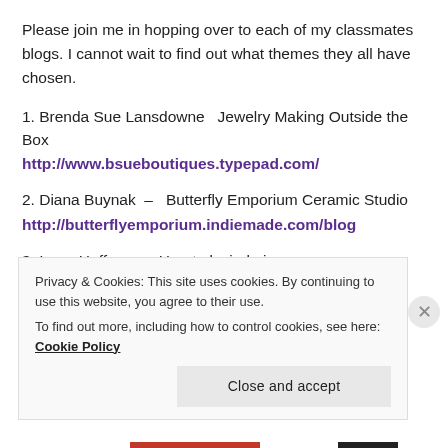Please join me in hopping over to each of my classmates blogs. I cannot wait to find out what themes they all have chosen.
1. Brenda Sue Lansdowne  Jewelry Making Outside the Box
http://www.bsueboutiques.typepad.com/
2. Diana Buynak  –  Butterfly Emporium Ceramic Studio
http://butterflyemporium.indiemade.com/blog
3. Irene Hoffman  – Heartsdezirebyirene
http://heartsdezirebvirene.wordpress.com
Privacy & Cookies: This site uses cookies. By continuing to use this website, you agree to their use.
To find out more, including how to control cookies, see here: Cookie Policy